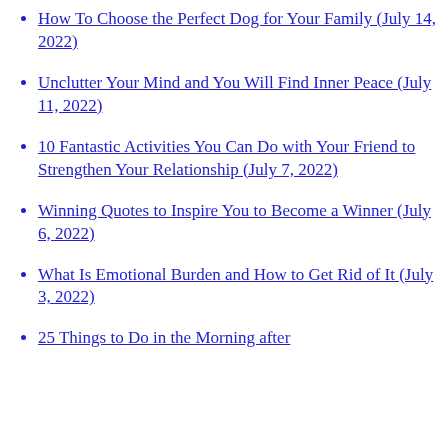How To Choose the Perfect Dog for Your Family (July 14, 2022)
Unclutter Your Mind and You Will Find Inner Peace (July 11, 2022)
10 Fantastic Activities You Can Do with Your Friend to Strengthen Your Relationship (July 7, 2022)
Winning Quotes to Inspire You to Become a Winner (July 6, 2022)
What Is Emotional Burden and How to Get Rid of It (July 3, 2022)
25 Things to Do in the Morning after